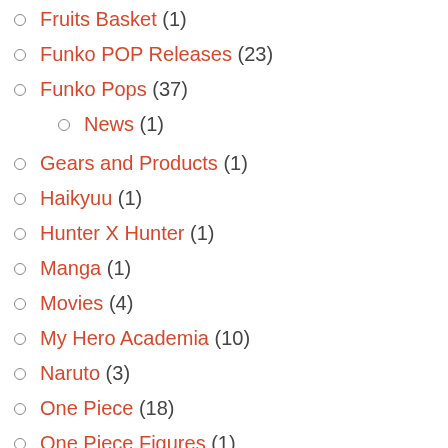Fruits Basket (1)
Funko POP Releases (23)
Funko Pops (37)
News (1)
Gears and Products (1)
Haikyuu (1)
Hunter X Hunter (1)
Manga (1)
Movies (4)
My Hero Academia (10)
Naruto (3)
One Piece (18)
One Piece Figures (1)
Pokemon (5)
pop figure display case (1)